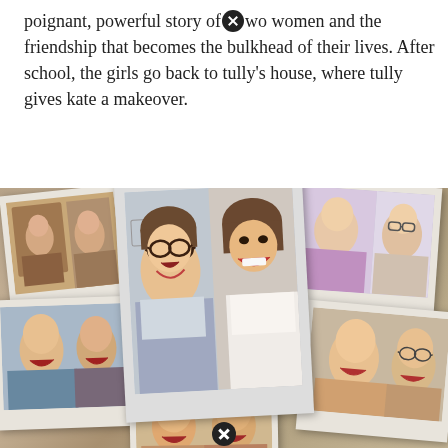poignant, powerful story of two women and the friendship that becomes the bulkhead of their lives. After school, the girls go back to tully's house, where tully gives kate a makeover.
[Figure (photo): A collage of polaroid-style photographs showing two women (one with glasses, one without) smiling and laughing together, along with other group shots of women laughing and posing.]